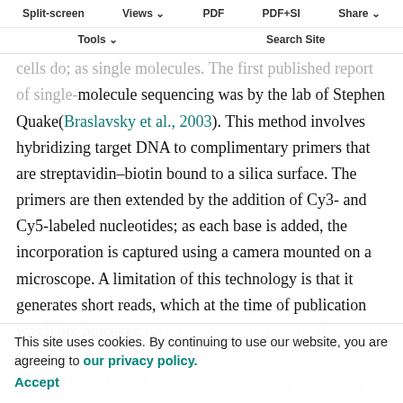Split-screen | Views | PDF | PDF+SI | Share | Tools | Search Site
of amplified templates are assembled in single reactions. It would be far better to read DNA in the same way as cells do; as single molecules. The first published report of single-molecule sequencing was by the lab of Stephen Quake(Braslavsky et al., 2003). This method involves hybridizing target DNA to complimentary primers that are streptavidin–biotin bound to a silica surface. The primers are then extended by the addition of Cy3- and Cy5-labeled nucleotides; as each base is added, the incorporation is captured using a camera mounted on a microscope. A limitation of this technology is that it generates short reads, which at the time of publication was 5 bp; however, this technology has been taken up by a company (Helicos Biosciences Corporation, Cambridge, MA, USA) who are producing much longer reads. This method is highly parallel, and on a 25 mm square it would be possible to sequence 12
This site uses cookies. By continuing to use our website, you are agreeing to our privacy policy. Accept